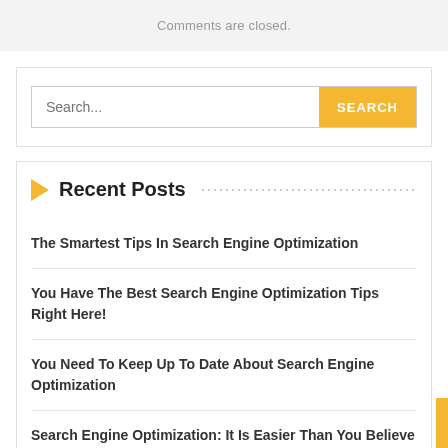Comments are closed.
Search...
Recent Posts
The Smartest Tips In Search Engine Optimization
You Have The Best Search Engine Optimization Tips Right Here!
You Need To Keep Up To Date About Search Engine Optimization
Search Engine Optimization: It Is Easier Than You Believe